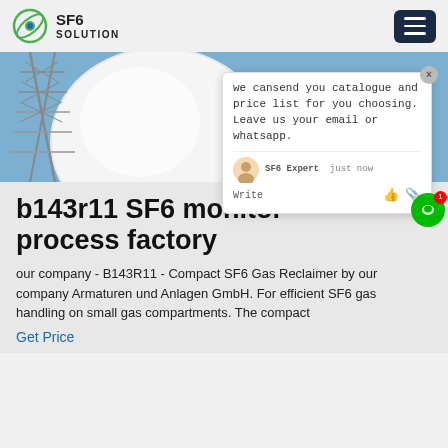SF6 SOLUTION
[Figure (photo): Industrial photo showing large white spherical structures and metal lattice tower against blue sky, with orange text partially visible on right.]
b143r11 SF6 monitor process factory
our company - B143R11 - Compact SF6 Gas Reclaimer by our company Armaturen und Anlagen GmbH. For efficient SF6 gas handling on small gas compartments. The compact
Get Price